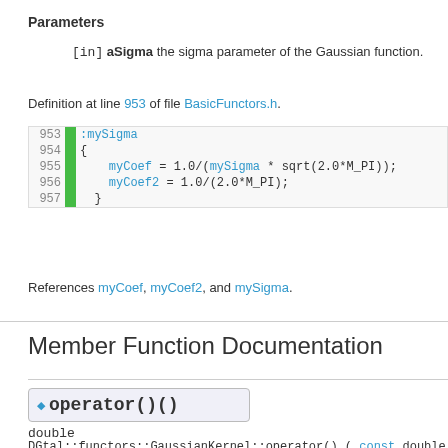Parameters
[in] aSigma the sigma parameter of the Gaussian function.
Definition at line 953 of file BasicFunctors.h.
[Figure (screenshot): Code block showing lines 953-957 of BasicFunctors.h with C++ constructor body for GaussianKernel including mySigma, myCoef, and myCoef2 assignments]
References myCoef, myCoef2, and mySigma.
Member Function Documentation
operator()()
double
DGtal::functors::GaussianKernel::operator() ( const double  aVal ) con